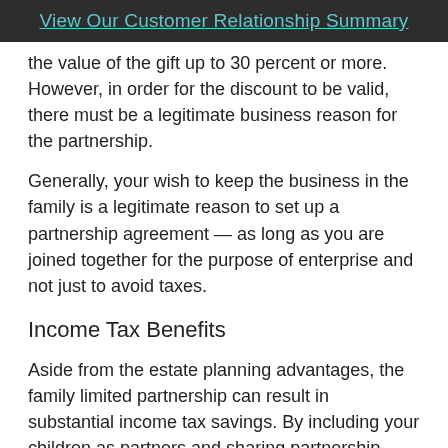View Our Customer Relationship Summary
the value of the gift up to 30 percent or more. However, in order for the discount to be valid, there must be a legitimate business reason for the partnership.
Generally, your wish to keep the business in the family is a legitimate reason to set up a partnership agreement — as long as you are joined together for the purpose of enterprise and not just to avoid taxes.
Income Tax Benefits
Aside from the estate planning advantages, the family limited partnership can result in substantial income tax savings. By including your children as partners and sharing partnership income with them, total family taxes may be reduced.
You should be aware, however, that if the income is unearned and the recipient is under age 14, “kiddie tax” rules will apply.